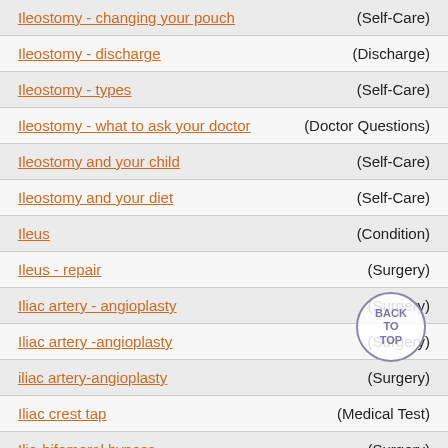Ileostomy - changing your pouch (Self-Care)
Ileostomy - discharge (Discharge)
Ileostomy - types (Self-Care)
Ileostomy - what to ask your doctor (Doctor Questions)
Ileostomy and your child (Self-Care)
Ileostomy and your diet (Self-Care)
Ileus (Condition)
Ileus - repair (Surgery)
Iliac artery - angioplasty (Surgery)
Iliac artery -angioplasty (Surgery)
iliac artery-angioplasty (Surgery)
Iliac crest tap (Medical Test)
Ilio-bifemoral bypass (Surgery)